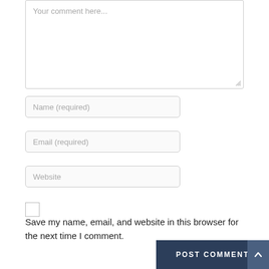[Figure (screenshot): Comment form textarea with placeholder text 'Your comment here...' followed by Name (required), Email (required), and Website input fields, a checkbox with 'Save my name, email, and website in this browser for the next time I comment.' label, and a POST COMMENT button.]
Your comment here...
Name (required)
Email (required)
Website
Save my name, email, and website in this browser for the next time I comment.
POST COMMENT